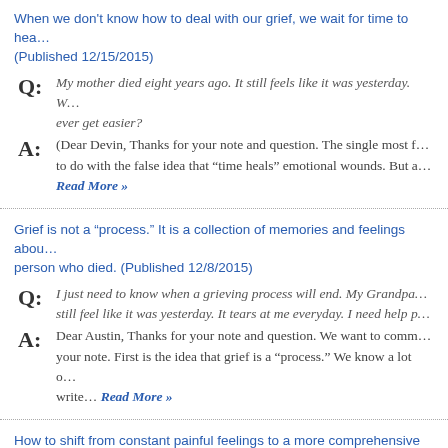When we don't know how to deal with our grief, we wait for time to hea... (Published 12/15/2015)
Q: My mother died eight years ago. It still feels like it was yesterday. W... ever get easier?
A: (Dear Devin, Thanks for your note and question. The single most f... to do with the false idea that “time heals” emotional wounds. But a... Read More »
Grief is not a "process." It is a collection of memories and feelings abou... person who died. (Published 12/8/2015)
Q: I just need to know when a grieving process will end. My Grandpa... still feel like it was yesterday. It tears at me everyday. I need help p...
A: Dear Austin, Thanks for your note and question. We want to comm... your note. First is the idea that grief is a “process.” We know a lot o... write… Read More »
How to shift from constant painful feelings to a more comprehensive em...